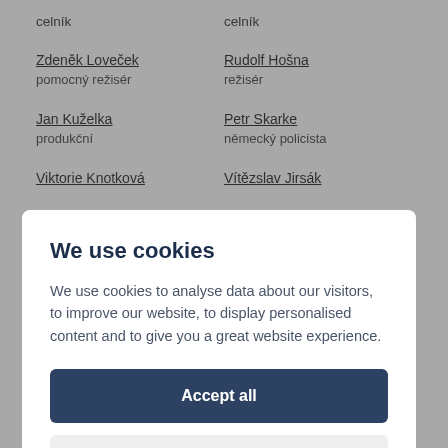celník
celník
Zdeněk Loveček
pomocný režisér
Rudolf Hošna
režisér
Jan Kuželka
produkční
Petr Skarke
německý policista
Viktorie Knotková
Vítězslav Jirsák
We use cookies
We use cookies to analyse data about our visitors, to improve our website, to display personalised content and to give you a great website experience.
Accept all
Preferences